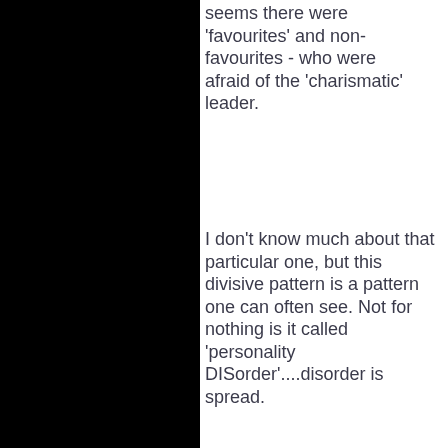seems there were 'favourites' and non-favourites - who were afraid of the 'charismatic' leader.
I don't know much about that particular one, but this divisive pattern is a pattern one can often see. Not for nothing is it called 'personality DISorder'....disorder is spread.